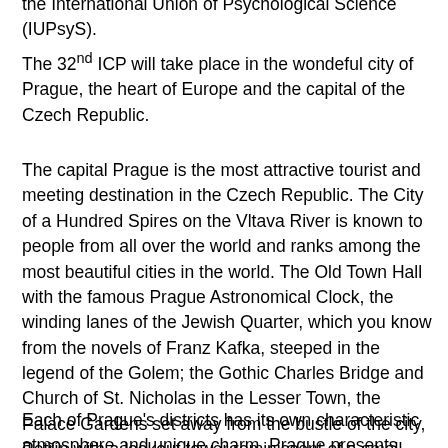the International Union of Psychological Science (IUPsyS).
The 32nd ICP will take place in the wondeful city of Prague, the heart of Europe and the capital of the Czech Republic.
The capital Prague is the most attractive tourist and meeting destination in the Czech Republic. The City of a Hundred Spires on the Vltava River is known to people from all over the world and ranks among the most beautiful cities in the world. The Old Town Hall with the famous Prague Astronomical Clock, the winding lanes of the Jewish Quarter, which you know from the novels of Franz Kafka, steeped in the legend of the Golem; the Gothic Charles Bridge and Church of St. Nicholas in the Lesser Town, the Palace Gardens set away from the bustle of the city, Petřín with a lookout tower reminiscent of a small Eiffel Tower and Prague Castle ...
Each of Prague's districts has its own characteristic atmosphere and unique charm. Prague presents itself to